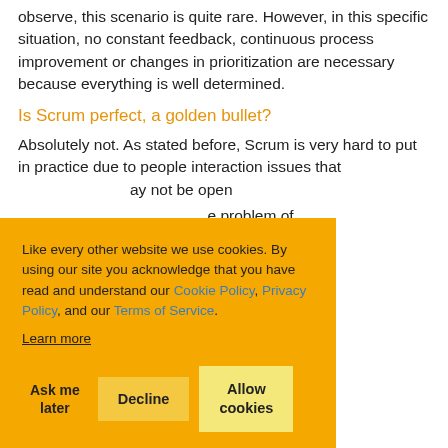observe, this scenario is quite rare. However, in this specific situation, no constant feedback, continuous process improvement or changes in prioritization are necessary because everything is well determined.
Is Scrum perfect, a golden bullet?
Absolutely not. As stated before, Scrum is very hard to put in practice due to people interaction issues that may not be open [partially obscured] e problem of [partially obscured] d to estimate a [partially obscured] s a problem for
Like every other website we use cookies. By using our site you acknowledge that you have read and understand our Cookie Policy, Privacy Policy, and our Terms of Service. Learn more
Ask me later   Decline   Allow cookies
How to build a strong Scrum team